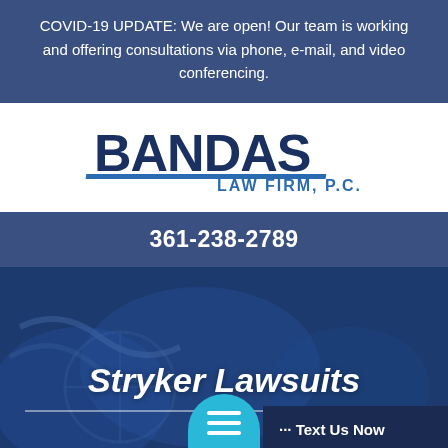COVID-19 UPDATE: We are open! Our team is working and offering consultations via phone, e-mail, and video conferencing.
[Figure (logo): Bandas Law Firm, P.C. logo with blue and dark grey text]
361-238-2789
[Figure (photo): Background photo of scales of justice with blue overlay]
Stryker Lawsuits
··· Text Us Now